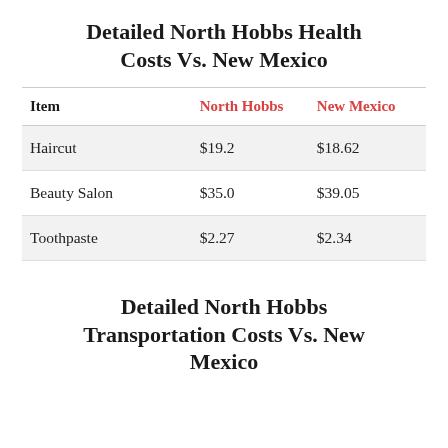Detailed North Hobbs Health Costs Vs. New Mexico
| Item | North Hobbs | New Mexico |
| --- | --- | --- |
| Haircut | $19.2 | $18.62 |
| Beauty Salon | $35.0 | $39.05 |
| Toothpaste | $2.27 | $2.34 |
Detailed North Hobbs Transportation Costs Vs. New Mexico